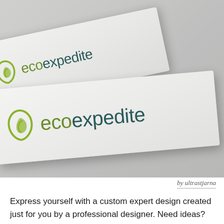[Figure (photo): Two business cards fanned out on a light gray surface, both printed with the 'ecoexpedite' logo — a green leaf/arrow icon and the brand name in green and dark teal text.]
by ultrastjarna
Express yourself with a custom expert design created just for you by a professional designer. Need ideas? We've collected some amazing